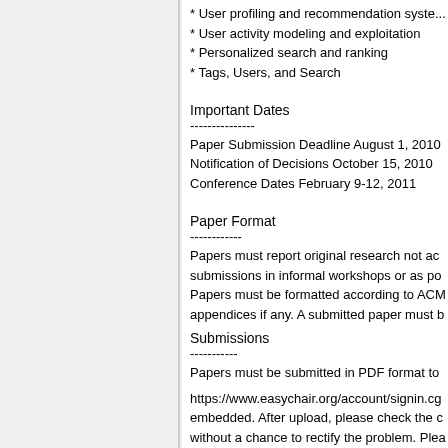* User profiling and recommendation syste...
* User activity modeling and exploitation
* Personalized search and ranking
* Tags, Users, and Search
Important Dates
---------------
Paper Submission Deadline August 1, 2010
Notification of Decisions October 15, 2010
Conference Dates February 9-12, 2011
Paper Format
------------
Papers must report original research not ac submissions in informal workshops or as po Papers must be formatted according to ACM appendices if any. A submitted paper must b
Submissions
-----------
Papers must be submitted in PDF format to
https://www.easychair.org/account/signin.cg embedded. After upload, please check the c without a chance to rectify the problem. Plea
Note that there is no separate process for p